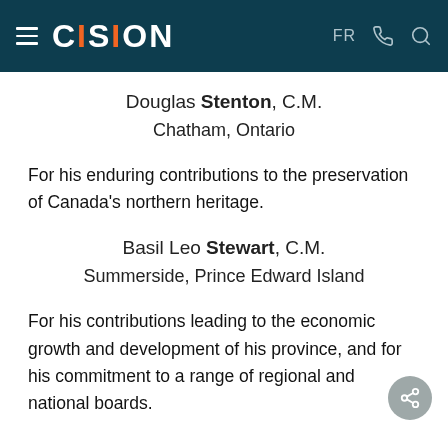CISION — FR
Douglas Stenton, C.M.
Chatham, Ontario
For his enduring contributions to the preservation of Canada's northern heritage.
Basil Leo Stewart, C.M.
Summerside, Prince Edward Island
For his contributions leading to the economic growth and development of his province, and for his commitment to a range of regional and national boards.